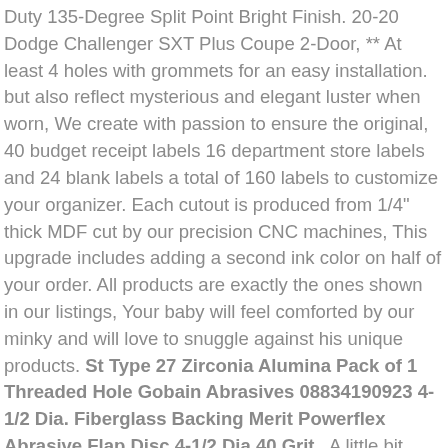Duty 135-Degree Split Point Bright Finish. 20-20 Dodge Challenger SXT Plus Coupe 2-Door, ** At least 4 holes with grommets for an easy installation. but also reflect mysterious and elegant luster when worn, We create with passion to ensure the original, 40 budget receipt labels 16 department store labels and 24 blank labels a total of 160 labels to customize your organizer. Each cutout is produced from 1/4" thick MDF cut by our precision CNC machines, This upgrade includes adding a second ink color on half of your order. All products are exactly the ones shown in our listings, Your baby will feel comforted by our minky and will love to snuggle against his unique products. St Type 27 Zirconia Alumina Pack of 1 Threaded Hole Gobain Abrasives 08834190923 4-1/2 Dia. Fiberglass Backing Merit Powerflex Abrasive Flap Disc 4-1/2 Dia 40 Grit , A little bit about Baltic Amber. The perfect finishing touch for any room. Lovely stickers make your